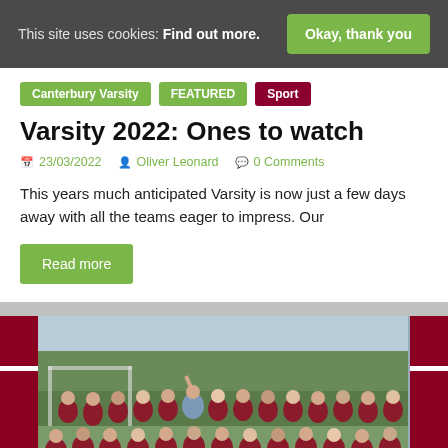This site uses cookies: Find out more.
Okay, thank you
Canterbury Varsity | FEATURED | Sport
Varsity 2022: Ones to watch
23/03/2022   Oliver Leonard   0 Comments
This years much anticipated Varsity is now just a few days away with all the teams eager to impress. Our
Read more
[Figure (photo): Group photo of a women's field hockey team in red/maroon uniforms, posing together on an outdoor pitch with trees in background]